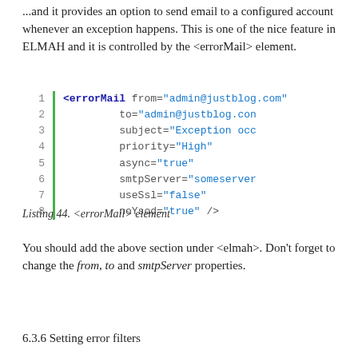...and it provides an option to send email to a configured account whenever an exception happens. This is one of the nice feature in ELMAH and it is controlled by the <errorMail> element.
[Figure (screenshot): Code listing showing XML snippet with <errorMail> element with attributes: from, to, subject, priority, async, smtpServer, useSsl, noYsod, with line numbers 1-8 and a green vertical bar on the left.]
Listing 44. <errorMail> element
You should add the above section under <elmah>. Don't forget to change the from, to and smtpServer properties.
6.3.6 Setting error filters